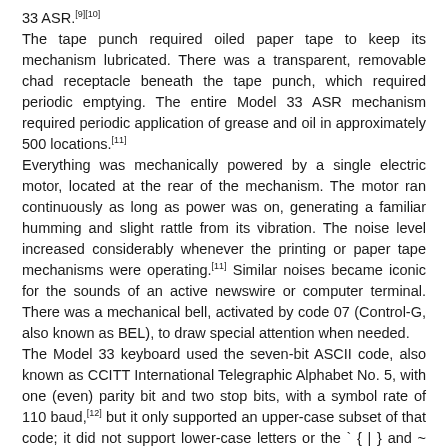33 ASR.[9][10] The tape punch required oiled paper tape to keep its mechanism lubricated. There was a transparent, removable chad receptacle beneath the tape punch, which required periodic emptying. The entire Model 33 ASR mechanism required periodic application of grease and oil in approximately 500 locations.[11] Everything was mechanically powered by a single electric motor, located at the rear of the mechanism. The motor ran continuously as long as power was on, generating a familiar humming and slight rattle from its vibration. The noise level increased considerably whenever the printing or paper tape mechanisms were operating.[11] Similar noises became iconic for the sounds of an active newswire or computer terminal. There was a mechanical bell, activated by code 07 (Control-G, also known as BEL), to draw special attention when needed. The Model 33 keyboard used the seven-bit ASCII code, also known as CCITT International Telegraphic Alphabet No. 5, with one (even) parity bit and two stop bits, with a symbol rate of 110 baud,[12] but it only supported an upper-case subset of that code; it did not support lower-case letters or the ` { | } and ~ characters. The